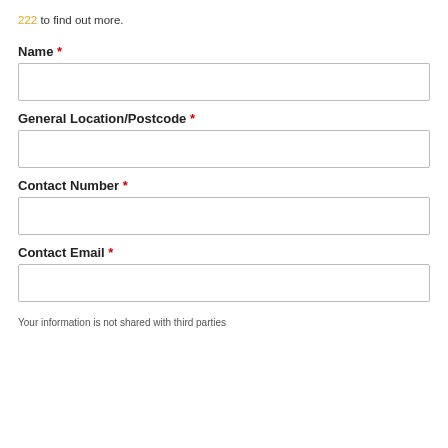222 to find out more.
Name *
General Location/Postcode *
Contact Number *
Contact Email *
Your information is not shared with third parties